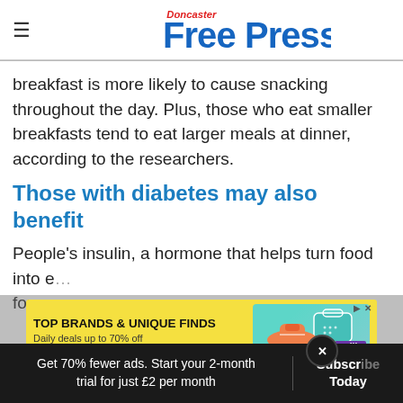Doncaster Free Press
breakfast is more likely to cause snacking throughout the day. Plus, those who eat smaller breakfasts tend to eat larger meals at dinner, according to the researchers.
Those with diabetes may also benefit
People's insulin, a hormone that helps turn food into e... for en...
[Figure (other): Advertisement banner: TOP BRANDS & UNIQUE FINDS – Daily deals up to 70% off, Zulily]
Get 70% fewer ads. Start your 2-month trial for just £2 per month | Subscribe Today